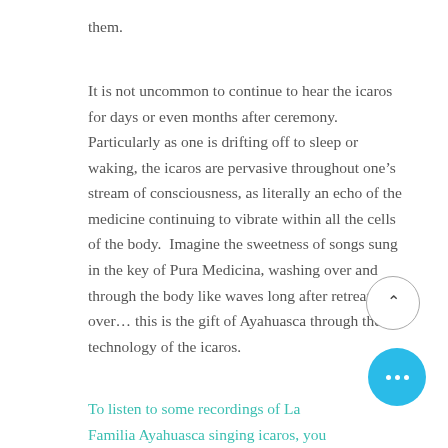them.
It is not uncommon to continue to hear the icaros for days or even months after ceremony.  Particularly as one is drifting off to sleep or waking, the icaros are pervasive throughout one’s stream of consciousness, as literally an echo of the medicine continuing to vibrate within all the cells of the body.  Imagine the sweetness of songs sung in the key of Pura Medicina, washing over and through the body like waves long after retreat is over… this is the gift of Ayahuasca through the technology of the icaros.
To listen to some recordings of La Familia Ayahuasca singing icaros, you